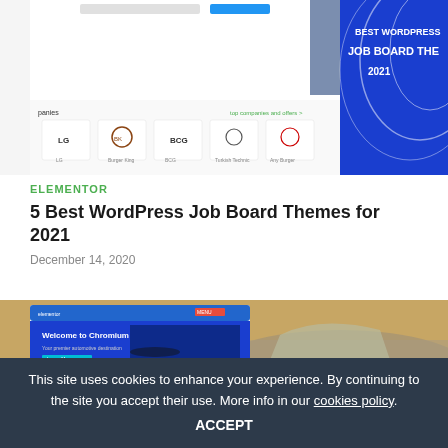[Figure (screenshot): Screenshot of a WordPress job board theme website UI overlaid on a blue promotional banner reading 'BEST WORDPRESS JOB BOARD THEME 2021' with decorative white line art, showing company logos including LG, Burger King, BCG]
ELEMENTOR
5 Best WordPress Job Board Themes for 2021
December 14, 2020
[Figure (screenshot): Screenshot of a car dealership or automotive WordPress theme (Chromium) overlaid on a blurred photo of cars]
This site uses cookies to enhance your experience. By continuing to the site you accept their use. More info in our cookies policy. ACCEPT